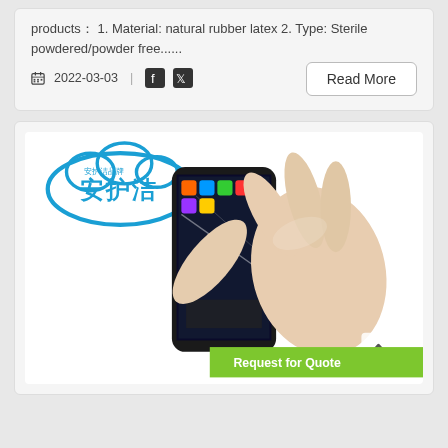products： 1. Material: natural rubber latex 2. Type: Sterile powdered/powder free......
2022-03-03
[Figure (screenshot): A product listing card showing a hand wearing a latex glove holding a smartphone, with a Chinese brand logo (安护洁) in blue stylized cloud shape in the top left corner. There is a green 'Request for Quote' banner at the bottom right and a scroll-up arrow icon.]